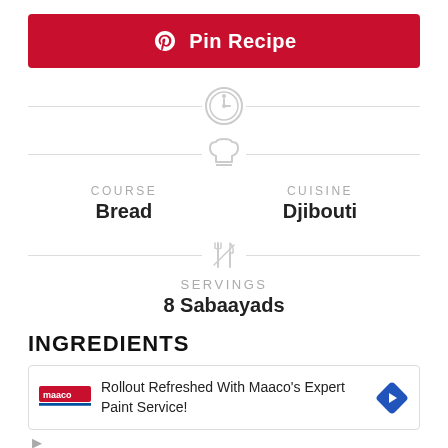[Figure (other): Pinterest Pin Recipe button — red rounded rectangle with Pinterest logo and white text 'Pin Recipe']
[Figure (other): Timer/clock icon (gray circle with clock face)]
[Figure (other): Chef hat icon (gray)]
COURSE
Bread
CUISINE
Djibouti
[Figure (other): Fork and knife crossed icon (gray)]
SERVINGS
8 Sabaayads
INGREDIENTS
[Figure (other): Advertisement: Rollout Refreshed With Maaco's Expert Paint Service! — shows Maaco logo, text, and a blue diamond direction icon]